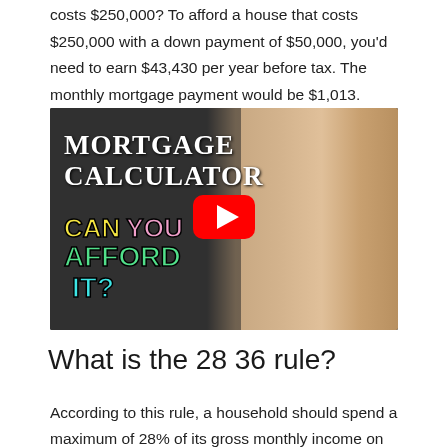costs $250,000? To afford a house that costs $250,000 with a down payment of $50,000, you'd need to earn $43,430 per year before tax. The monthly mortgage payment would be $1,013.
[Figure (screenshot): YouTube video thumbnail for a Mortgage Calculator video. Dark background on left with text 'MORTGAGE CALCULATOR' in white serif bold font, colored text 'CAN YOU AFFORD IT?' in yellow, pink, green, cyan. Red YouTube play button in center. Woman with blonde hair and smiling face on the right side.]
What is the 28 36 rule?
According to this rule, a household should spend a maximum of 28% of its gross monthly income on total housing expenses and no